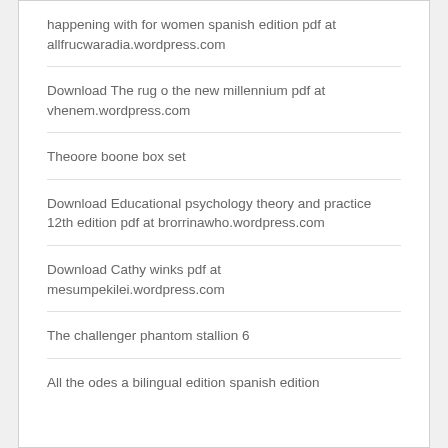happening with for women spanish edition pdf at allfrucwaradia.wordpress.com
Download The rug o the new millennium pdf at vhenem.wordpress.com
Theoore boone box set
Download Educational psychology theory and practice 12th edition pdf at brorrinawho.wordpress.com
Download Cathy winks pdf at mesumpekilei.wordpress.com
The challenger phantom stallion 6
All the odes a bilingual edition spanish edition